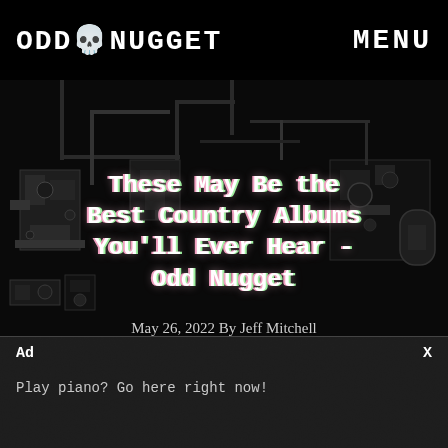ODD NUGGET   MENU
[Figure (illustration): Dark pixel-art circuit board background with retro game-style mechanical elements in dark gray and black tones]
These May Be the Best Country Albums You'll Ever Hear - Odd Nugget
May 26, 2022 By Jeff Mitchell
Ad   X
Play piano? Go here right now!